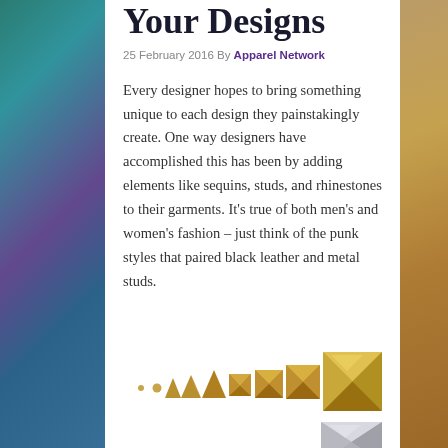Your Designs
25 February 2016 By Apparel Network
Every designer hopes to bring something unique to each design they painstakingly create. One way designers have accomplished this has been by adding elements like sequins, studs, and rhinestones to their garments. It’s true of both men’s and women’s fashion – just think of the punk styles that paired black leather and metal studs.
[Figure (photo): A row of pyramid studs in increasing sizes from small to large, shown in gold/brass metal. A large silver pyramid stud is also partially visible at the bottom right.]